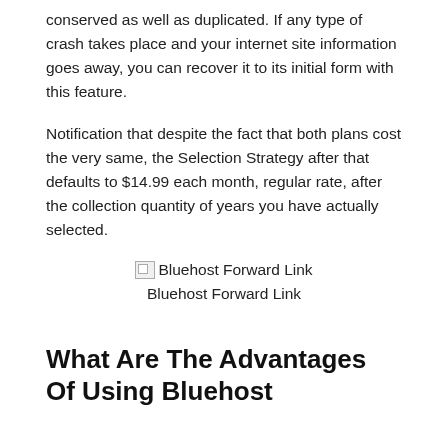conserved as well as duplicated. If any type of crash takes place and your internet site information goes away, you can recover it to its initial form with this feature.
Notification that despite the fact that both plans cost the very same, the Selection Strategy after that defaults to $14.99 each month, regular rate, after the collection quantity of years you have actually selected.
[Figure (illustration): Broken image placeholder with text 'Bluehost Forward Link']
Bluehost Forward Link
What Are The Advantages Of Using Bluehost